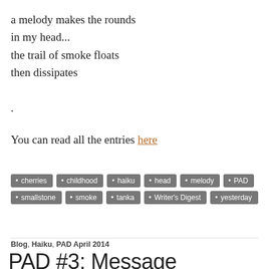a melody makes the rounds
in my head...
the trail of smoke floats
then dissipates

.
You can read all the entries here
cherries
childhood
haiku
head
melody
PAD
smallstone
smoke
tanka
Writer's Digest
yesterday
Blog, Haiku, PAD April 2014
PAD #3: Message
April 3, 2014